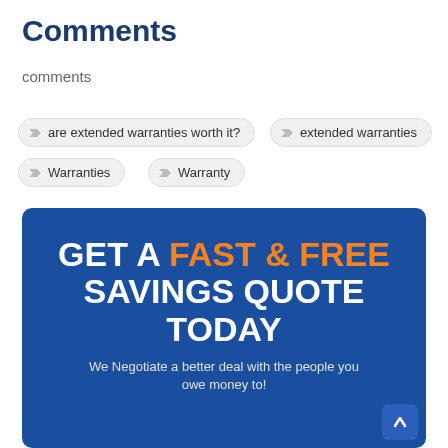Comments
comments
are extended warranties worth it?
extended warranties
Warranties
Warranty
[Figure (infographic): Blue banner advertisement: GET A FAST & FREE SAVINGS QUOTE TODAY. We Negotiate a better deal with the people you owe money to!]